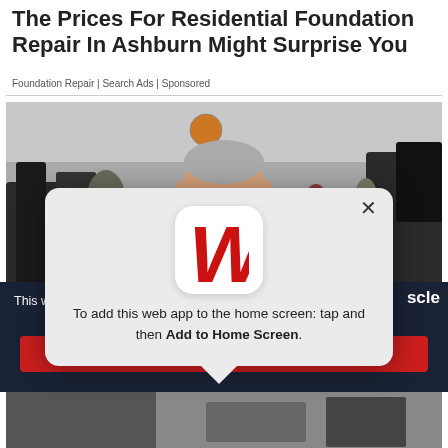The Prices For Residential Foundation Repair In Ashburn Might Surprise You
Foundation Repair | Search Ads | Sponsored
[Figure (photo): Man with white beard in black Nike shirt doing exercise in a busy gym, taken as a selfie. Gym equipment and other people visible in background.]
This w
scle
[Figure (screenshot): Mobile web app install popup showing a red W logo icon with rounded corners (Walgreens or similar), a close X button, and text: 'To add this web app to the home screen: tap and then Add to Home Screen.']